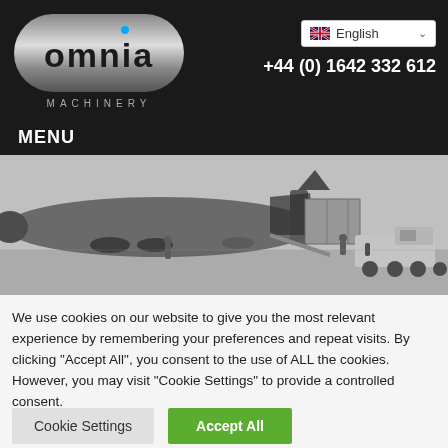[Figure (logo): Omnia Machinery logo — rounded pill shape with 'omnia' text in dark letters and blue dot, 'MACHINERY' text below]
English
+44 (0) 1642 332 612
MENU
[Figure (photo): Black and white photo of a large cargo aircraft being loaded with a shipping container using a truck/loader at an airport tarmac. Workers visible in scene.]
We use cookies on our website to give you the most relevant experience by remembering your preferences and repeat visits. By clicking "Accept All", you consent to the use of ALL the cookies. However, you may visit "Cookie Settings" to provide a controlled consent.
Cookie Settings
Accept All